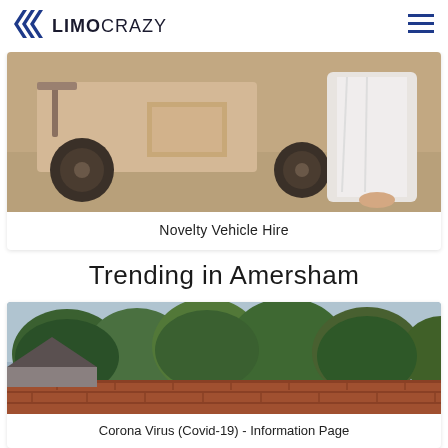LIMOCRAZY
[Figure (photo): A novelty three-wheeled vehicle covered in cardboard/fabric, photographed outdoors on sandy ground, with a white dress/fabric visible on the right side]
Novelty Vehicle Hire
Trending in Amersham
[Figure (photo): Outdoor scene showing brick wall and trees with green foliage against an overcast sky]
Corona Virus (Covid-19) - Information Page